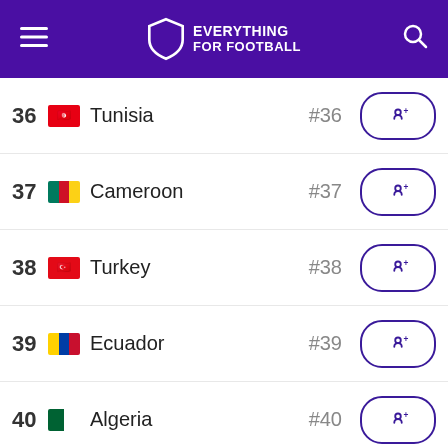Everything For Football
36 Tunisia #36
37 Cameroon #37
38 Turkey #38
39 Ecuador #39
40 Algeria #40
41 Ivory Coast #41
42 Romania #42